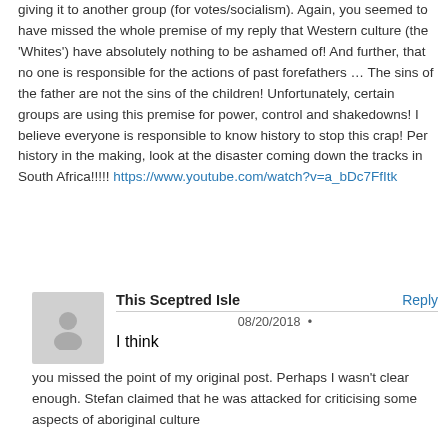giving it to another group (for votes/socialism). Again, you seemed to have missed the whole premise of my reply that Western culture (the 'Whites') have absolutely nothing to be ashamed of! And further, that no one is responsible for the actions of past forefathers … The sins of the father are not the sins of the children! Unfortunately, certain groups are using this premise for power, control and shakedowns! I believe everyone is responsible to know history to stop this crap! Per history in the making, look at the disaster coming down the tracks in South Africa!!!!! https://www.youtube.com/watch?v=a_bDc7FfItk
This Sceptred Isle | Reply | 08/20/2018 • | I think you missed the point of my original post. Perhaps I wasn't clear enough. Stefan claimed that he was attacked for criticising some aspects of aboriginal culture